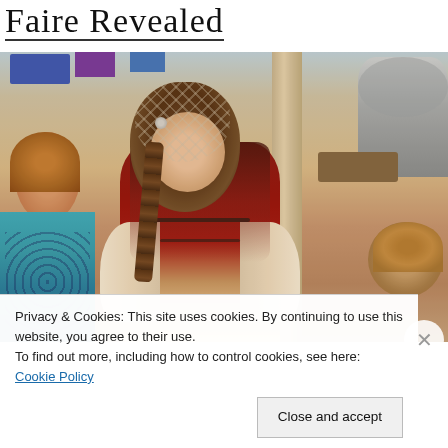Faire Revealed
[Figure (photo): A woman in Renaissance faire costume (medieval dress with decorative net headpiece and braided hair, ornate necklace and bodice) bending down toward children at what appears to be a Renaissance faire event. A young red-haired girl is visible on the left, and the back of another child's head on the right. Wooden posts and faire stalls visible in the background. Warm vintage-toned photograph.]
Privacy & Cookies: This site uses cookies. By continuing to use this website, you agree to their use.
To find out more, including how to control cookies, see here: Cookie Policy
Close and accept